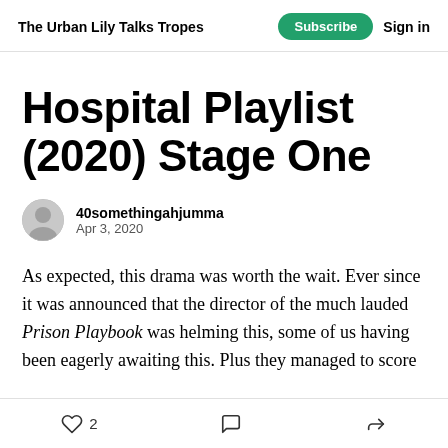The Urban Lily Talks Tropes | Subscribe | Sign in
Hospital Playlist (2020) Stage One
40somethingahjumma
Apr 3, 2020
As expected, this drama was worth the wait. Ever since it was announced that the director of the much lauded Prison Playbook was helming this, some of us having been eagerly awaiting this. Plus they managed to score
2 likes | comment | share